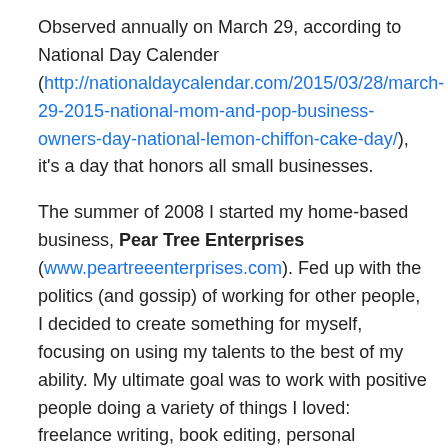Observed annually on March 29, according to National Day Calender (http://nationaldaycalendar.com/2015/03/28/march-29-2015-national-mom-and-pop-business-owners-day-national-lemon-chiffon-cake-day/), it's a day that honors all small businesses.
The summer of 2008 I started my home-based business, Pear Tree Enterprises (www.peartreeenterprises.com). Fed up with the politics (and gossip) of working for other people, I decided to create something for myself, focusing on using my talents to the best of my ability. My ultimate goal was to work with positive people doing a variety of things I loved: freelance writing, book editing, personal assistance and marketing.